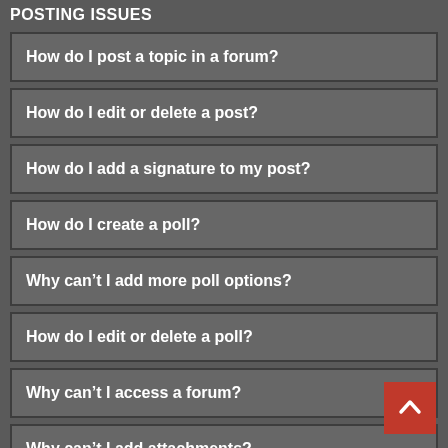POSTING ISSUES
How do I post a topic in a forum?
How do I edit or delete a post?
How do I add a signature to my post?
How do I create a poll?
Why can't I add more poll options?
How do I edit or delete a poll?
Why can't I access a forum?
Why can't I add attachments?
Why did I receive a warning?